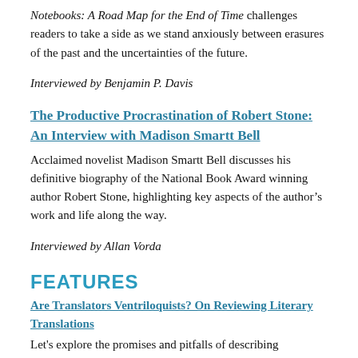Notebooks: A Road Map for the End of Time challenges readers to take a side as we stand anxiously between erasures of the past and the uncertainties of the future.
Interviewed by Benjamin P. Davis
The Productive Procrastination of Robert Stone: An Interview with Madison Smartt Bell
Acclaimed novelist Madison Smartt Bell discusses his definitive biography of the National Book Award winning author Robert Stone, highlighting key aspects of the author’s work and life along the way.
Interviewed by Allan Vorda
FEATURES
Are Translators Ventriloquists? On Reviewing Literary Translations
Let's explore the promises and pitfalls of describing translators (often ignored in reviews of translated works) as